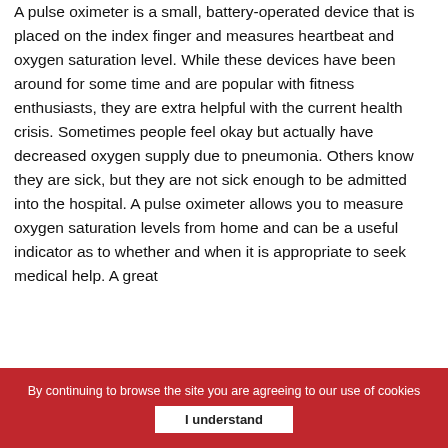A pulse oximeter is a small, battery-operated device that is placed on the index finger and measures heartbeat and oxygen saturation level. While these devices have been around for some time and are popular with fitness enthusiasts, they are extra helpful with the current health crisis. Sometimes people feel okay but actually have decreased oxygen supply due to pneumonia. Others know they are sick, but they are not sick enough to be admitted into the hospital. A pulse oximeter allows you to measure oxygen saturation levels from home and can be a useful indicator as to whether and when it is appropriate to seek medical help. A great
By continuing to browse the site you are agreeing to our use of cookies
I understand